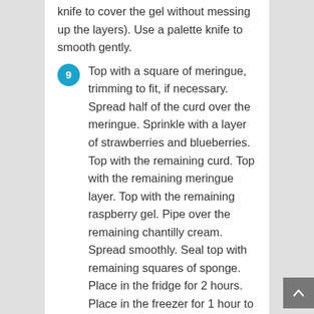knife to cover the gel without messing up the layers). Use a palette knife to smooth gently.
9 Top with a square of meringue, trimming to fit, if necessary. Spread half of the curd over the meringue. Sprinkle with a layer of strawberries and blueberries. Top with the remaining curd. Top with the remaining meringue layer. Top with the remaining raspberry gel. Pipe over the remaining chantilly cream. Spread smoothly. Seal top with remaining squares of sponge. Place in the fridge for 2 hours. Place in the freezer for 1 hour to harden before coating.
10 Making the coating: Place the water, sugar, glucose, cream and cocoa in a